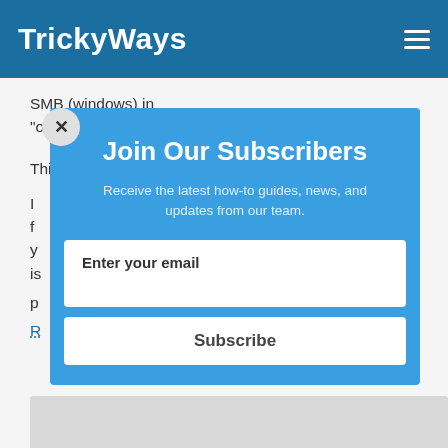TrickyWays
SMB (windows) in “options” (Shown above the sharing windows9).
This will simple make you Mac visible and easily a...
I... f f... r y... o is...
p...
R...
Join Our Subscribers
Receive the latest how-to guides, news, and updates from our team.
Enter your email
Subscribe